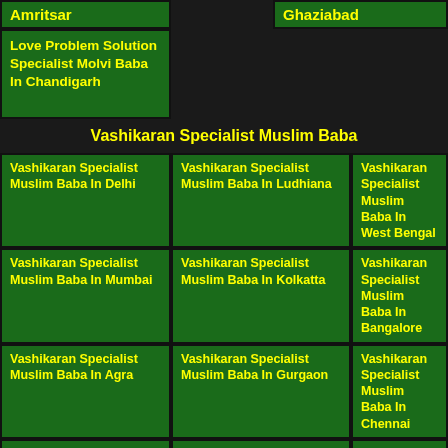Amritsar
Ghaziabad
Love Problem Solution Specialist Molvi Baba In Chandigarh
Vashikaran Specialist Muslim Baba
Vashikaran Specialist Muslim Baba In Delhi
Vashikaran Specialist Muslim Baba In Ludhiana
Vashikaran Specialist Muslim Baba In West Bengal
Vashikaran Specialist Muslim Baba In Mumbai
Vashikaran Specialist Muslim Baba In Kolkatta
Vashikaran Specialist Muslim Baba In Bangalore
Vashikaran Specialist Muslim Baba In Agra
Vashikaran Specialist Muslim Baba In Gurgaon
Vashikaran Specialist Muslim Baba In Chennai
Vashikaran Specialist Muslim Baba In Lucknow
Vashikaran Specialist Muslim Baba In Noida
Vashikaran Specialist Muslim Baba In Navi Mumbai
Vashikaran Specialist Muslim (bottom left)
Vashikaran Specialist Muslim (bottom center)